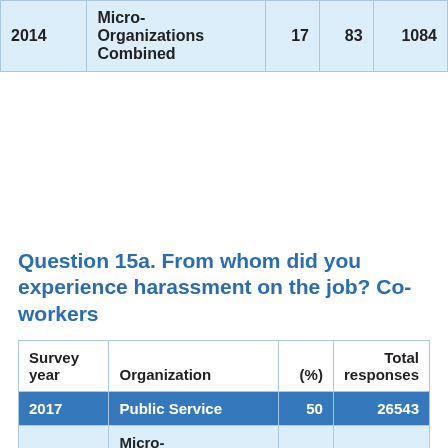| Survey year | Organization | (%) | Total responses |
| --- | --- | --- | --- |
| 2014 | Micro-Organizations Combined | 17 | 83 | 1084 |
Question 15a. From whom did you experience harassment on the job? Co-workers
| Survey year | Organization | (%) | Total responses |
| --- | --- | --- | --- |
| 2017 | Public Service | 50 | 26543 |
| 2017 | Micro-Organizations Combined | 51 | 150 |